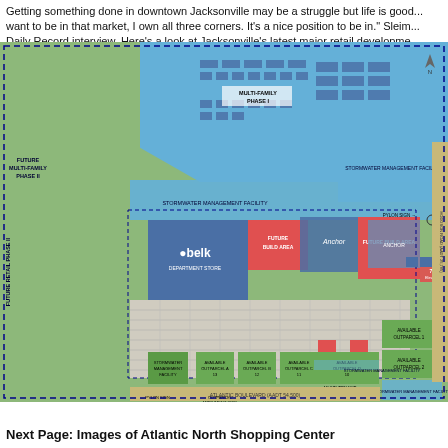Getting something done in downtown Jacksonville may be a struggle but life is good... want to be in that market, I own all three corners. It's a nice position to be in." Sleim... Daily Record interview. Here's a look at Jacksonville's latest major retail developme...
[Figure (map): Site plan map of Atlantic North Shopping Center in Jacksonville, showing retail development layout with Belk anchor store, future build areas, multi-family phases, stormwater management facilities, outparcels, parking areas, and Atlantic Boulevard frontage. Key labeled features include Future Multi-Family Phase II, Multi-Family Phase I, Stormwater Management Facility, Future Build Area, Belk store, Future Retail Phase II, Available Outparcels, Pylon Sign, Outparcel Monument Sign, Atlantic Boulevard (AADT 54,500), and Multi-Tenant areas.]
Next Page: Images of Atlantic North Shopping Center